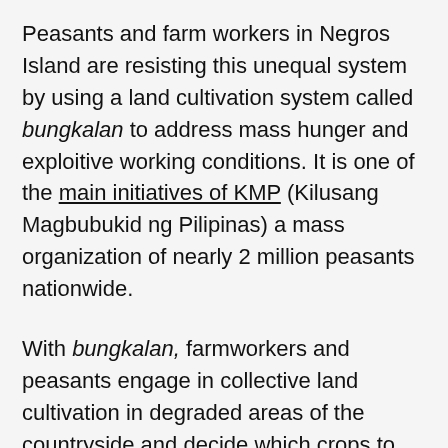Peasants and farm workers in Negros Island are resisting this unequal system by using a land cultivation system called bungkalan to address mass hunger and exploitive working conditions. It is one of the main initiatives of KMP (Kilusang Magbubukid ng Pilipinas) a mass organization of nearly 2 million peasants nationwide.

With bungkalan, farmworkers and peasants engage in collective land cultivation in degraded areas of the countryside and decide which crops to cultivate while using